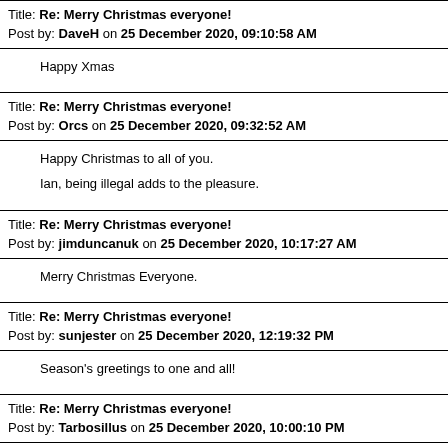Title: Re: Merry Christmas everyone!
Post by: DaveH on 25 December 2020, 09:10:58 AM
Happy Xmas
Title: Re: Merry Christmas everyone!
Post by: Orcs on 25 December 2020, 09:32:52 AM
Happy Christmas to all of you.

Ian, being illegal adds to the pleasure.
Title: Re: Merry Christmas everyone!
Post by: jimduncanuk on 25 December 2020, 10:17:27 AM
Merry Christmas Everyone.
Title: Re: Merry Christmas everyone!
Post by: sunjester on 25 December 2020, 12:19:32 PM
Season's greetings to one and all!
Title: Re: Merry Christmas everyone!
Post by: Tarbosillus on 25 December 2020, 10:00:10 PM